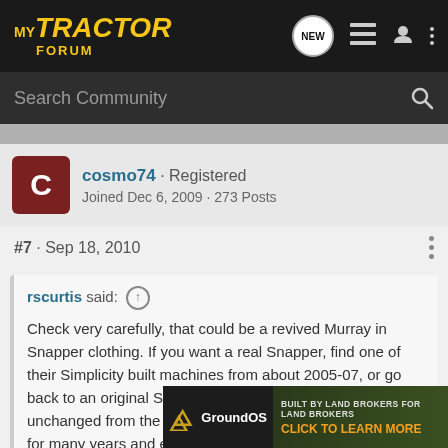MyTractor Forum - navigation bar with search
cosmo74 · Registered
Joined Dec 6, 2009 · 273 Posts
#7 · Sep 18, 2010
rscurtis said: ↑

Check very carefully, that could be a revived Murray in Snapper clothing. If you want a real Snapper, find one of their Simplicity built machines from about 2005-07, or go back to an original Snapper unit, they were virtually unchanged from the early eighties. I was a Snapper dealer for many years and either of those is a good choice- well built and as simple as can be, unlike some of Toro's latest iterations. This advertised unit is Snapper's attempt at going "down
[Figure (screenshot): GroundOS advertisement banner - BUILT BY LAND BROKERS FOR LAND BROKERS - CLICK TO LEARN MORE]